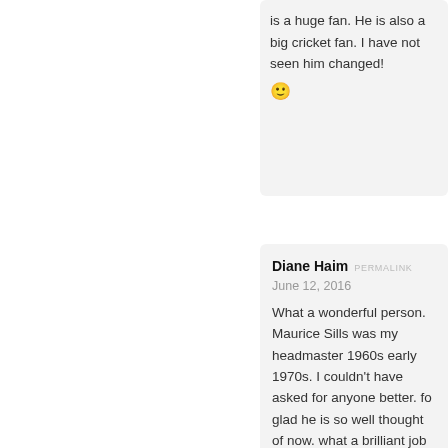is a huge fan. He is also a big cricket fan. I have not seen him changed!
🙂
Diane Haim  PERMALINK
June 12, 2016
What a wonderful person. Maurice Sills was my headmaster 1960s early 1970s. I couldn't have asked for anyone better. fo glad he is so well thought of now. what a brilliant job he is st xx
John Walton  PERMALINK
July 2, 2017
With great regret, may I register that Maurice passed away pe the ripe old age of very nearly 103. He was my junior school kept in touch regularly since then. He was a wonderful man a For funeral details please contact the Cathedral. (02/07/2017)